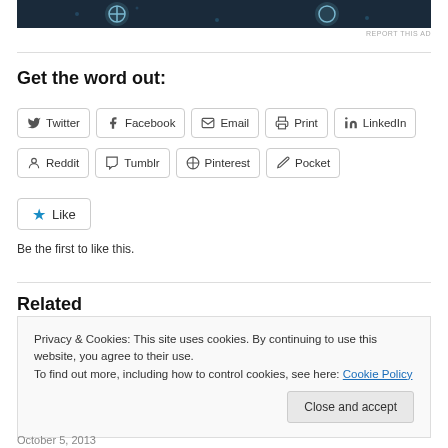[Figure (other): Dark blue banner advertisement with circular logo icons]
REPORT THIS AD
Get the word out:
Twitter
Facebook
Email
Print
LinkedIn
Reddit
Tumblr
Pinterest
Pocket
Like
Be the first to like this.
Related
Privacy & Cookies: This site uses cookies. By continuing to use this website, you agree to their use. To find out more, including how to control cookies, see here: Cookie Policy
Close and accept
October 5, 2013